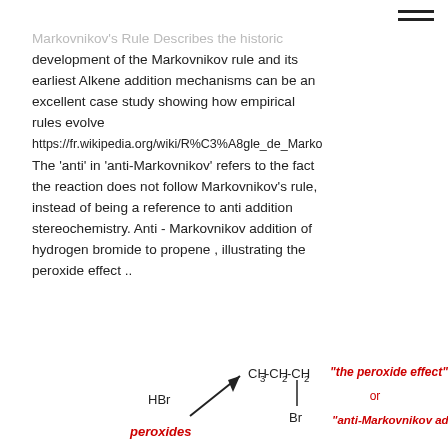≡ (hamburger menu icon)
Markovnikov's Rule Describes the historic development of the Markovnikov rule and its earliest Alkene addition mechanisms can be an excellent case study showing how empirical rules evolve
https://fr.wikipedia.org/wiki/R%C3%A8gle_de_Marko
The 'anti' in 'anti-Markovnikov' refers to the fact the reaction does not follow Markovnikov's rule, instead of being a reference to anti addition stereochemistry. Anti - Markovnikov addition of hydrogen bromide to propene , illustrating the peroxide effect ...
[Figure (chemistry-diagram): Chemical diagram showing anti-Markovnikov addition: HBr + peroxides arrow pointing to CH3-CH2-CH2 with Br substituent, labeled 'the peroxide effect' or 'anti-Markovnikov addition' in red italic text.]